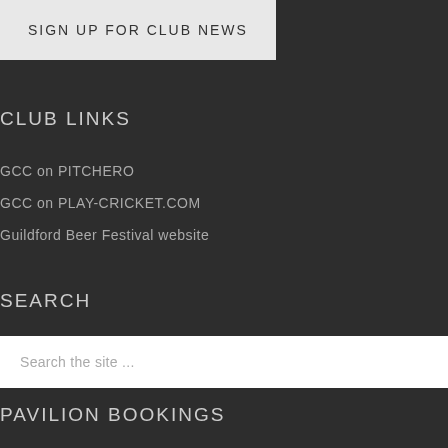SIGN UP FOR CLUB NEWS
CLUB LINKS
GCC on PITCHERO
GCC on PLAY-CRICKET.COM
Guildford Beer Festival website
SEARCH
Search the site ...
PAVILION BOOKINGS